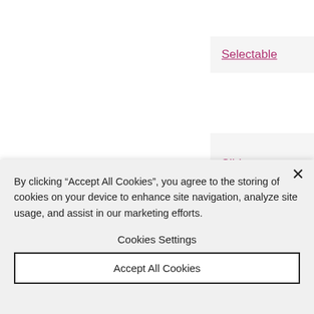Selectable
Slider
Space
TagField
By clicking “Accept All Cookies”, you agree to the storing of cookies on your device to enhance site navigation, analyze site usage, and assist in our marketing efforts.
Cookies Settings
Accept All Cookies